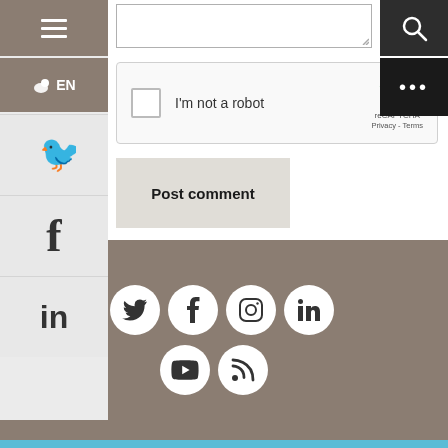[Figure (screenshot): Partial text input textarea at top of page]
[Figure (screenshot): reCAPTCHA widget with checkbox, 'I'm not a robot' label, and reCAPTCHA logo with Privacy - Terms links]
[Figure (screenshot): Post comment button]
[Figure (screenshot): Left sidebar with hamburger menu, EN language selector, Twitter bird icon, Facebook f icon, and LinkedIn in icon]
[Figure (screenshot): Right sidebar with search icon and three dots more button]
Follow us
[Figure (screenshot): Social media icons: Twitter, Facebook, Instagram, LinkedIn, YouTube, RSS feed in white circles on taupe footer background]